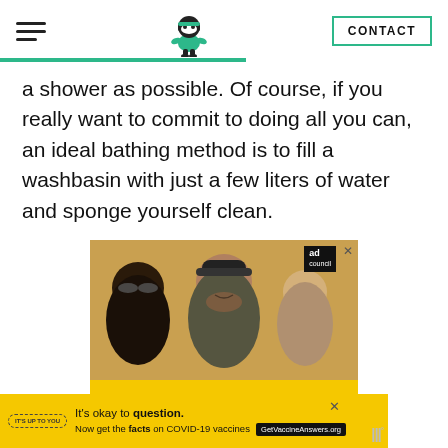Navigation header with hamburger menu, ninja logo, and CONTACT button
a shower as possible. Of course, if you really want to commit to doing all you can, an ideal bathing method is to fill a washbasin with just a few liters of water and sponge yourself clean.
[Figure (photo): Advertisement banner showing group of smiling friends, yellow background, 'Getting back to going out' text, 'It's Up To You COVID-19 Vaccination' badge, Ad Council logo]
[Figure (photo): Bottom advertisement banner: 'It's okay to question. Now get the facts on COVID-19 vaccines GetVaccineAnswers.org' on yellow background]